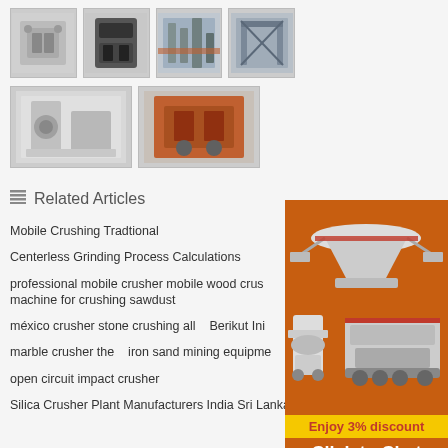[Figure (photo): Grid of 6 industrial crushing/grinding machine photos in two rows]
Related Articles
Mobile Crushing Tradtional
Centerless Grinding Process Calculations
professional mobile crusher mobile wood crus machine for crushing sawdust
méxico crusher stone crushing all   Berikut Ini
marble crusher the   iron sand mining equipme
open circuit impact crusher
Silica Crusher Plant Manufacturers India Sri Lanka
[Figure (photo): Orange sidebar with industrial crushing equipment images, Enjoy 3% discount banner, Click to Chat button, Enquiry link, and limingjlmofen@sina.com email]